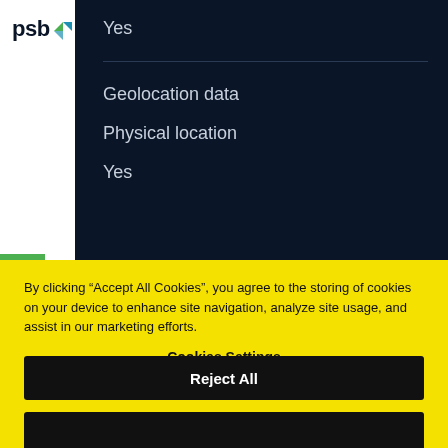[Figure (logo): PSB logo with blue text and green/teal arrow icon]
Yes
Geolocation data
Physical location
Yes
By clicking “Accept All Cookies”, you agree to the storing of cookies on your device to enhance site navigation, analyze site usage, and assist in our marketing efforts.
Cookies Settings
Reject All